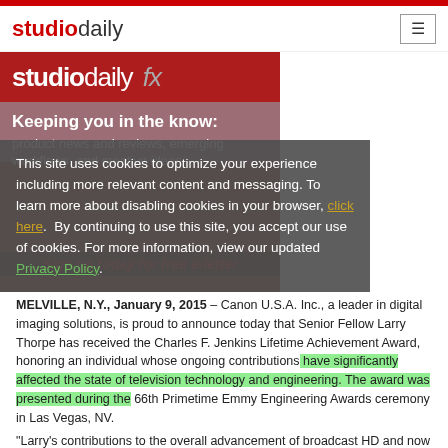studiodaily
[Figure (screenshot): StudioDaily FX newsletter hero image with text: Keeping you in the know: product news and reviews, emerging workflows, and creative ideas. Sign up today for free e-letter]
This site uses cookies to optimize your experience including more relevant content and messaging. To learn more about disabling cookies in your browser, click here. By continuing to use this site, you accept our use of cookies. For more information, view our updated Privacy Policy.
MELVILLE, N.Y., January 9, 2015 – Canon U.S.A. Inc., a leader in digital imaging solutions, is proud to announce today that Senior Fellow Larry Thorpe has received the Charles F. Jenkins Lifetime Achievement Award, honoring an individual whose ongoing contributions have significantly affected the state of television technology and engineering. The award was presented during the 66th Primetime Emmy Engineering Awards ceremony in Las Vegas, NV.
“Larry’s contributions to the overall advancement of broadcast HD and now